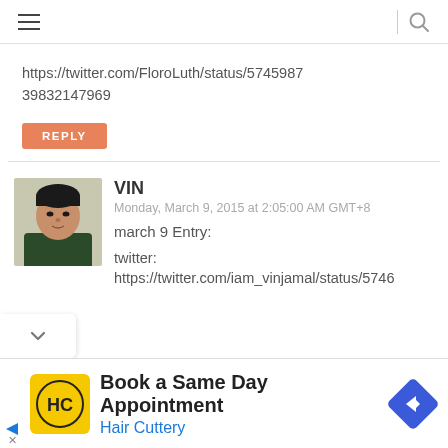hamburger menu | search
https://twitter.com/FloroLuth/status/574598739832147969
REPLY
VIN
Monday, March 9, 2015 at 2:05:00 AM GMT+8
march 9 Entry:

twitter:
https://twitter.com/iam_vinjamal/status/5746
[Figure (photo): Avatar photo of user VIN, a young man in a dark shirt]
Book a Same Day Appointment
Hair Cuttery